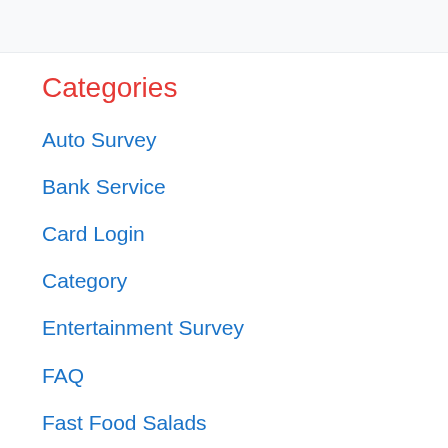Categories
Auto Survey
Bank Service
Card Login
Category
Entertainment Survey
FAQ
Fast Food Salads
Food Survey